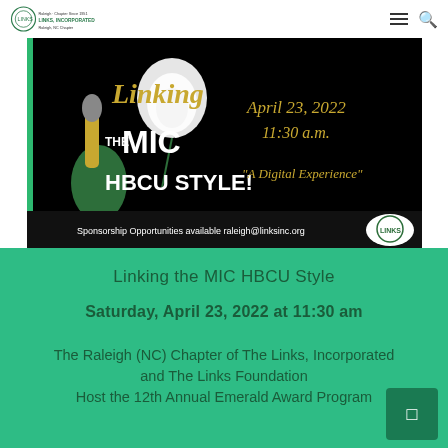The Links, Incorporated - Raleigh NC Chapter
[Figure (illustration): Event promotional image on black background. Shows 'Linking the MIC HBCU STYLE!' text with a gloved hand holding a microphone and a white rose. Right side shows 'April 23, 2022 11:30 a.m.' and '"A Digital Experience"'. Bottom shows 'Sponsorship Opportunities available raleigh@linksinc.org' with a circular logo.]
Linking the MIC HBCU Style
Saturday, April 23, 2022 at 11:30 am
The Raleigh (NC) Chapter of The Links, Incorporated and The Links Foundation Host the 12th Annual Emerald Award Program